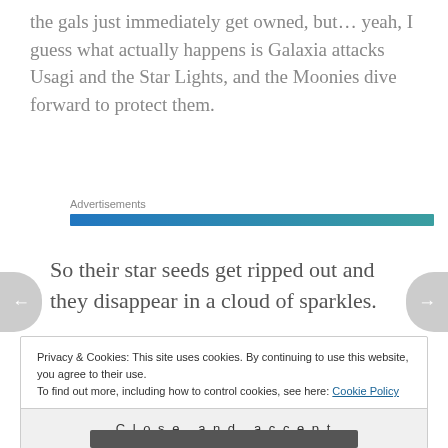the gals just immediately get owned, but… yeah, I guess what actually happens is Galaxia attacks Usagi and the Star Lights, and the Moonies dive forward to protect them.
Advertisements
So their star seeds get ripped out and they disappear in a cloud of sparkles.
Privacy & Cookies: This site uses cookies. By continuing to use this website, you agree to their use.
To find out more, including how to control cookies, see here: Cookie Policy
Close and accept